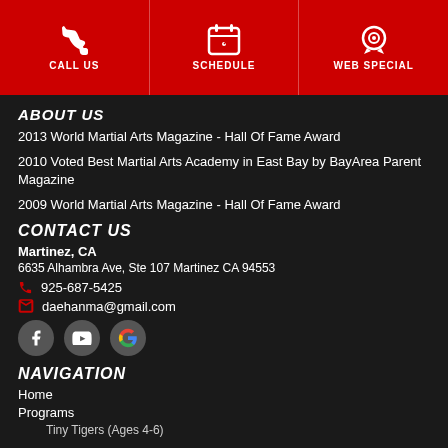CALL US | SCHEDULE | WEB SPECIAL
ABOUT US
2013 World Martial Arts Magazine - Hall Of Fame Award
2010 Voted Best Martial Arts Academy in East Bay by BayArea Parent Magazine
2009 World Martial Arts Magazine - Hall Of Fame Award
CONTACT US
Martinez, CA
6635 Alhambra Ave, Ste 107 Martinez CA 94553
925-687-5425
daehanma@gmail.com
[Figure (other): Social media icons: Facebook, YouTube, Google]
NAVIGATION
Home
Programs
Tiny Tigers (Ages 4-6)